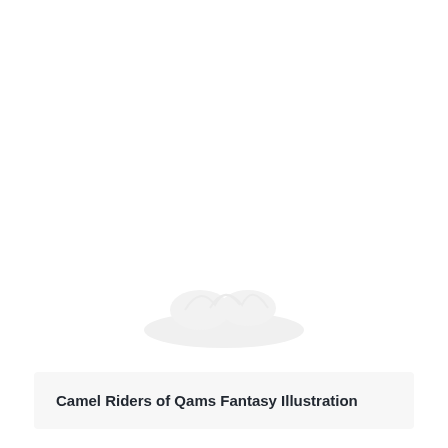[Figure (illustration): A nearly blank white page with a very faint, barely visible illustration (Camel Riders of Qams Fantasy Illustration) in the lower portion of the image area.]
Camel Riders of Qams Fantasy Illustration